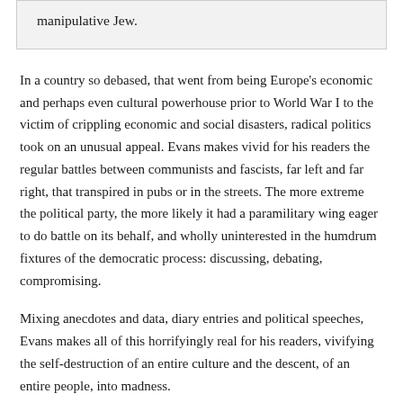manipulative Jew.
In a country so debased, that went from being Europe's economic and perhaps even cultural powerhouse prior to World War I to the victim of crippling economic and social disasters, radical politics took on an unusual appeal. Evans makes vivid for his readers the regular battles between communists and fascists, far left and far right, that transpired in pubs or in the streets. The more extreme the political party, the more likely it had a paramilitary wing eager to do battle on its behalf, and wholly uninterested in the humdrum fixtures of the democratic process: discussing, debating, compromising.
Mixing anecdotes and data, diary entries and political speeches, Evans makes all of this horrifyingly real for his readers, vivifying the self-destruction of an entire culture and the descent, of an entire people, into madness.